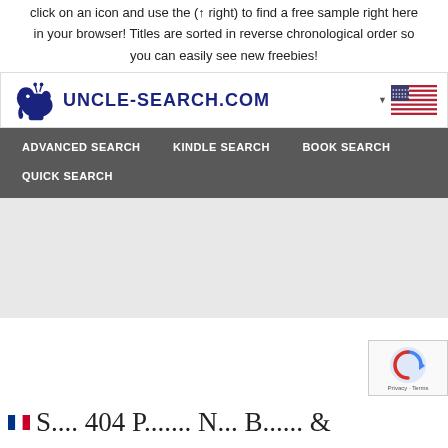click on an icon and use the (↑ right) to find a free sample right here in your browser! Titles are sorted in reverse chronological order so you can easily see new freebies!
[Figure (screenshot): Jungle-Search.com website header with elephant logo, US flag dropdown, and navigation bar with ADVANCED SEARCH, KINDLE SEARCH, BOOK SEARCH, QUICK SEARCH links on dark gray background]
[Figure (screenshot): reCAPTCHA widget with spinning arrow logo and Privacy - Terms text]
[Figure (screenshot): Bottom strip showing a French flag and cursive script text beginning of a title]